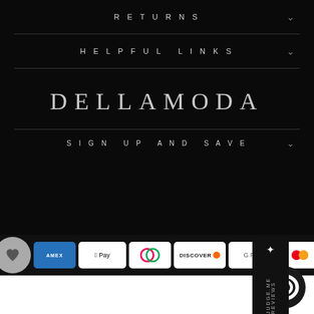RETURNS
HELPFUL LINKS
DELLAMODA
SIGN UP AND SAVE
[Figure (other): Payment method icons: AMEX, Apple Pay, Diners Club, Discover, Google Pay, Mastercard, Shop Pay, Visa]
022 Dellamoda
[Figure (other): Judge.me Reviews vertical badge strip]
[Figure (other): Chat support bubble icon]